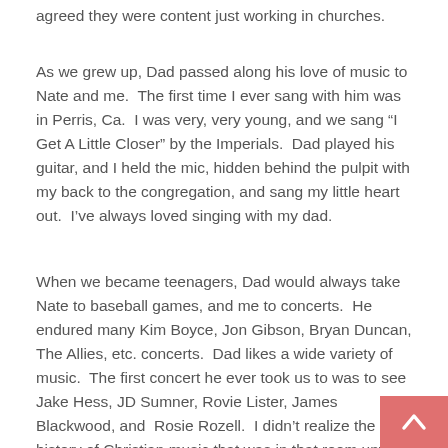agreed they were content just working in churches.
As we grew up, Dad passed along his love of music to Nate and me.  The first time I ever sang with him was in Perris, Ca.  I was very, very young, and we sang “I Get A Little Closer” by the Imperials.  Dad played his guitar, and I held the mic, hidden behind the pulpit with my back to the congregation, and sang my little heart out.  I’ve always loved singing with my dad.
When we became teenagers, Dad would always take Nate to baseball games, and me to concerts.  He endured many Kim Boyce, Jon Gibson, Bryan Duncan, The Allies, etc. concerts.  Dad likes a wide variety of music.  The first concert he ever took us to was to see Jake Hess, JD Sumner, Rovie Lister, James Blackwood, and  Rosie Rozell.  I didn’t realize the history of Christian music that was in that room until I was older, but it was a great time.